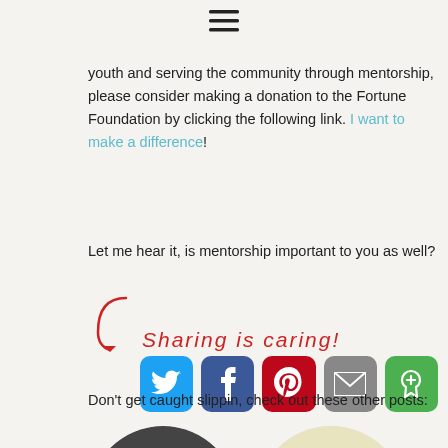≡
youth and serving the community through mentorship, please consider making a donation to the Fortune Foundation by clicking the following link. I want to make a difference!
Let me hear it, is mentorship important to you as well?
[Figure (infographic): Sharing is caring! social share buttons for Twitter, Facebook, Pinterest, Email, and More options]
Don't get caught slippin, check out these other posts:
[Figure (photo): Group of young men wearing 'What's the Goal?' t-shirts, black and white circular photo]
[Figure (photo): Circular photo of food items including a blue tray and various ingredients on a white surface]